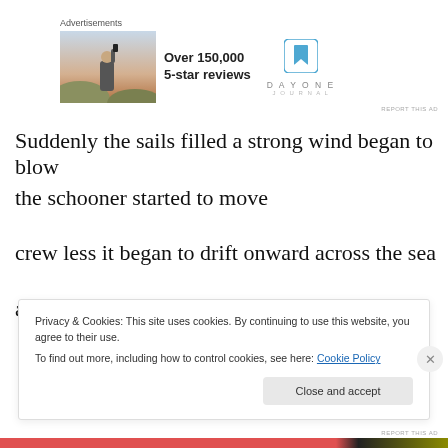[Figure (infographic): Advertisement banner for Day One Journal app showing a person photographing a landscape, text 'Over 150,000 5-star reviews', and Day One Journal logo with bookmark icon]
Suddenly the sails filled a strong wind began to blow
the schooner started to move
crew less it began to drift onward across the sea
and many months before found
Privacy & Cookies: This site uses cookies. By continuing to use this website, you agree to their use.
To find out more, including how to control cookies, see here: Cookie Policy